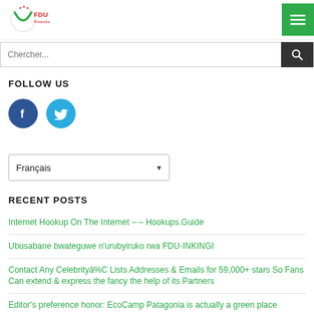FDU Rwanda
[Figure (logo): FDU Rwanda logo with red stars and green V shape]
FOLLOW US
[Figure (infographic): Facebook and Twitter social media icon circles]
Français
RECENT POSTS
Internet Hookup On The Internet – – Hookups.Guide
Ubusabane bwateguwe n'urubyiruko rwa FDU-INKINGI
Contact Any Celebrityâ€C Lists Addresses & Emails for 59,000+ stars So Fans Can extend & express the fancy the help of its Partners
Editor's preference honor: EcoCamp Patagonia is actually a green place